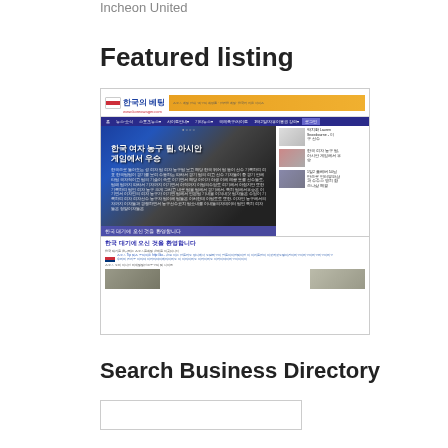Incheon United
Featured listing
[Figure (screenshot): Screenshot of a Korean sports betting website (한국의 베팅 / www.koreawager.com) showing Korean women's basketball team news, navigation bar, sidebar articles, and site content in Korean language.]
Search Business Directory